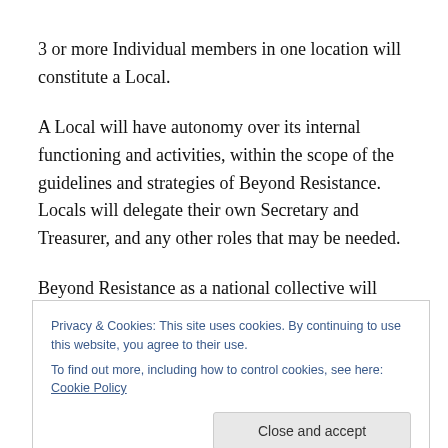3 or more Individual members in one location will constitute a Local.
A Local will have autonomy over its internal functioning and activities, within the scope of the guidelines and strategies of Beyond Resistance. Locals will delegate their own Secretary and Treasurer, and any other roles that may be needed.
Beyond Resistance as a national collective will have a
Privacy & Cookies: This site uses cookies. By continuing to use this website, you agree to their use.
To find out more, including how to control cookies, see here: Cookie Policy
A national hui of the entire membership will take place